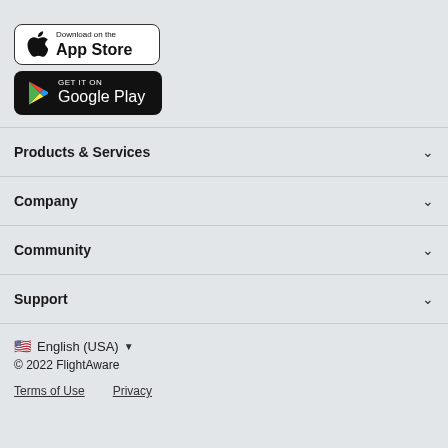[Figure (logo): Download on the App Store button - white background with Apple logo and text 'Download on the App Store']
[Figure (logo): GET IT ON Google Play button - black background with Google Play triangle logo and text]
Products & Services
Company
Community
Support
🇺🇸 English (USA) ▼
© 2022 FlightAware
Terms of Use    Privacy